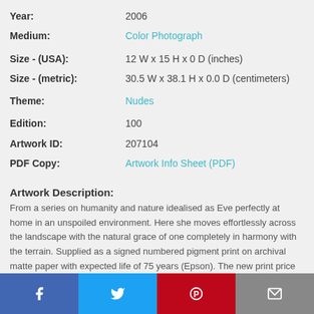| Year: | 2006 |
| Medium: | Color Photograph |
| Size - (USA): | 12 W x 15 H x 0 D (inches) |
| Size - (metric): | 30.5 W x 38.1 H x 0.0 D (centimeters) |
| Theme: | Nudes |
| Edition: | 100 |
| Artwork ID: | 207104 |
| PDF Copy: | Artwork Info Sheet (PDF) |
Artwork Description:
From a series on humanity and nature idealised as Eve perfectly at home in an unspoiled environment. Here she moves effortlessly across the landscape with the natural grace of one completely in harmony with the terrain. Supplied as a signed numbered pigment print on archival matte paper with expected life of 75 years (Epson). The new print price will be incremented with each print sold resulting in an investment opportunity for re-sale at a later date. In the event of damage or deterioration prints with documented provenance will be replaced by the artist (in his lifetime) at cost.